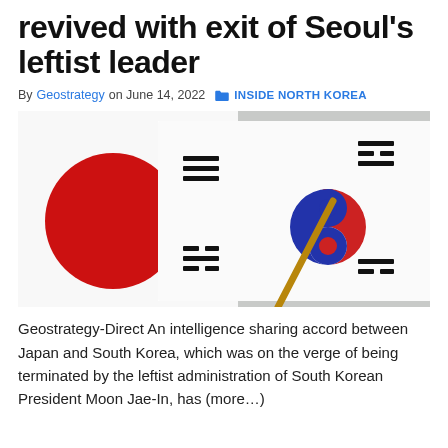revived with exit of Seoul's leftist leader
By Geostrategy on June 14, 2022  INSIDE NORTH KOREA
[Figure (photo): Japanese and South Korean flags side by side. Japan flag shows large red circle on white background; South Korean flag (Taegukgi) shows blue and red yin-yang symbol with black trigrams on white background.]
Geostrategy-Direct An intelligence sharing accord between Japan and South Korea, which was on the verge of being terminated by the leftist administration of South Korean President Moon Jae-In, has (more…)